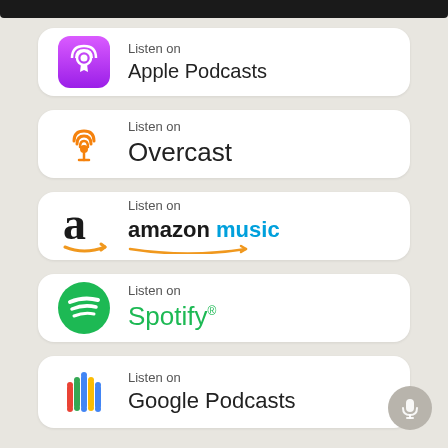[Figure (screenshot): Mobile app screenshot showing podcast platform listen buttons: Apple Podcasts, Overcast, Amazon Music, Spotify, Google Podcasts, with a microphone floating action button.]
Listen on Apple Podcasts
Listen on Overcast
Listen on amazon music
Listen on Spotify
Listen on Google Podcasts